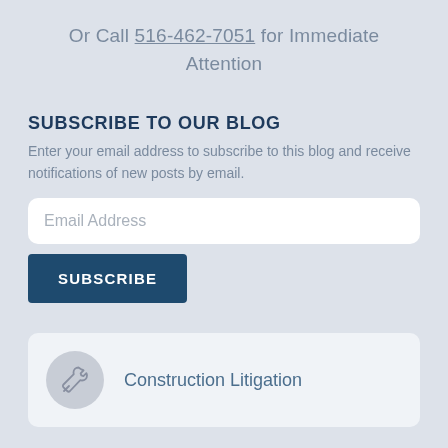Or Call 516-462-7051 for Immediate Attention
SUBSCRIBE TO OUR BLOG
Enter your email address to subscribe to this blog and receive notifications of new posts by email.
Email Address
SUBSCRIBE
Construction Litigation